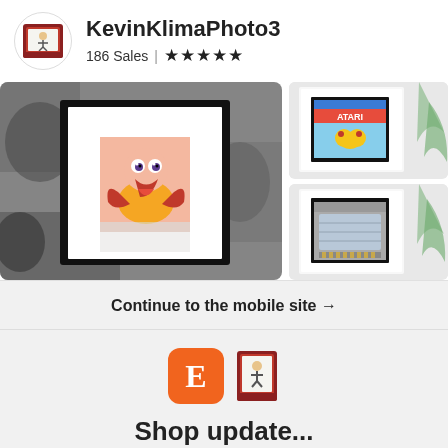[Figure (logo): Shop logo - matchbox design in circle]
KevinKlimaPhoto3
186 Sales | ★★★★★
[Figure (photo): Gallery of framed artwork and gaming cartridges: main large frame with colorful duck/frog character art on grey concrete wall background; top right shows Atari cartridge in white frame; bottom right shows grey NES cartridge in white frame; partial palm leaves visible on far right]
Continue to the mobile site →
[Figure (logo): Etsy orange E logo icon alongside matchbox shop logo icon]
Shop update...